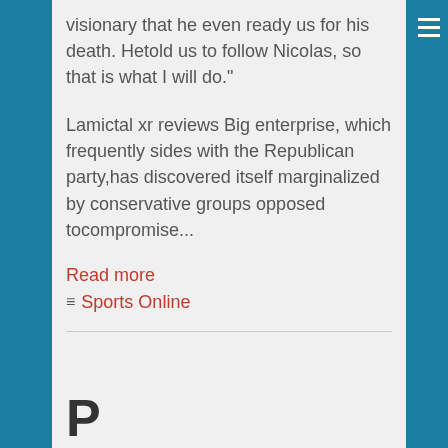visionary that he even ready us for his death. Hetold us to follow Nicolas, so that is what I will do."
Lamictal xr reviews Big enterprise, which frequently sides with the Republican party,has discovered itself marginalized by conservative groups opposed tocompromise...
Read more
≡ Sports Online
P...